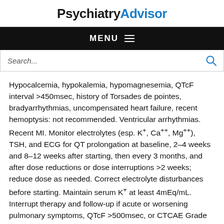PsychiatryAdvisor
MENU
Search...
Hypocalcemia, hypokalemia, hypomagnesemia, QTcF interval >450msec, history of Torsades de pointes, bradyarrhythmias, uncompensated heart failure, recent hemoptysis: not recommended. Ventricular arrhythmias. Recent MI. Monitor electrolytes (esp. K+, Ca++, Mg++), TSH, and ECG for QT prolongation at baseline, 2–4 weeks and 8–12 weeks after starting, then every 3 months, and after dose reductions or dose interruptions >2 weeks; reduce dose as needed. Correct electrolyte disturbances before starting. Maintain serum K+ at least 4mEq/mL. Interrupt therapy and follow-up if acute or worsening pulmonary symptoms, QTcF >500msec, or CTCAE Grade ≥3 toxicity occurs. Monitor for heart failure; consider